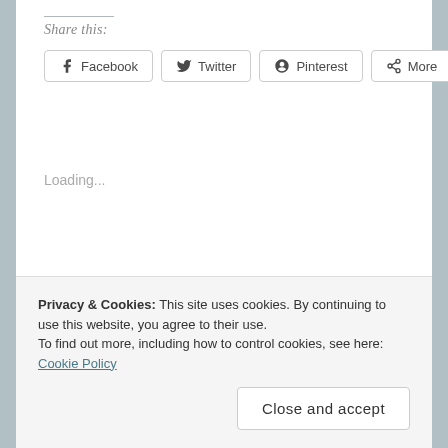Share this:
Facebook  Twitter  Pinterest  More
Loading...
Related
Killer Doubt and Kicking Butt
May 17, 2015
50K in 30 Days – Breathing life into a new story
Privacy & Cookies: This site uses cookies. By continuing to use this website, you agree to their use.
To find out more, including how to control cookies, see here: Cookie Policy
Close and accept